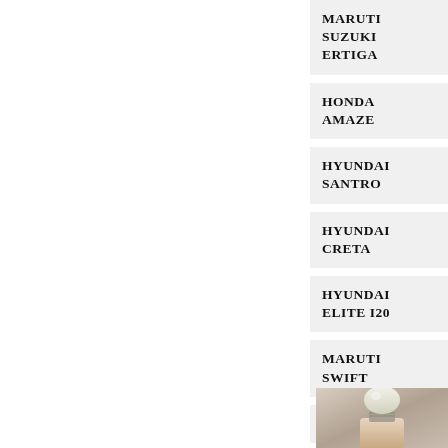MARUTI SUZUKI ERTIGA
HONDA AMAZE
HYUNDAI SANTRO
HYUNDAI CRETA
HYUNDAI ELITE I20
MARUTI SWIFT
AUTOMOBILES
Taboola Feed
[Figure (photo): Photo of a person holding a light bulb, partial view showing hand and bulb against a neutral background]